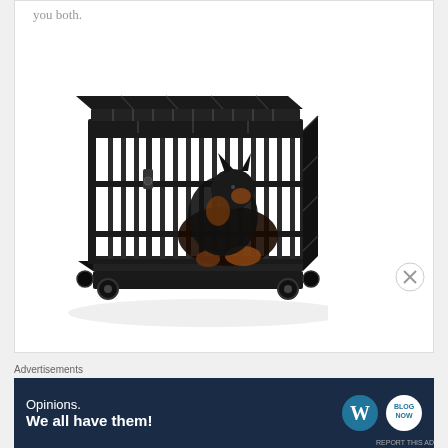you both.
[Figure (photo): A large black heavy-duty metal dog crate on wheels with a Doberman dog lying inside it, viewed from a front-side angle on a white background.]
Advertisements
[Figure (advertisement): Advertisement banner with dark navy background. Left side shows text: 'Opinions. We all have them!' Right side shows WordPress logo (circular W mark) and another circular logo.]